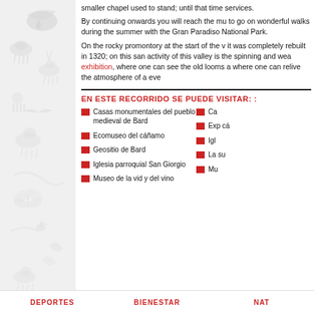[Figure (illustration): Decorative left panel with gray animal and nature silhouettes on light gray background]
smaller chapel used to stand; until that time services.
By continuing onwards you will reach the mu to go on wonderful walks during the summer with the Gran Paradiso National Park.
On the rocky promontory at the start of the v it was completely rebuilt in 1320; on this san activity of this valley is the spinning and wea exhibition, where one can see the old looms a where one can relive the atmosphere of a eve
EN ESTE RECORRIDO SE PUEDE VISITAR: :
Casas monumentales del pueblo medieval de Bard
Ecomuseo del cáñamo
Geositio de Bard
Iglesia parroquial San Giorgio
Museo de la vid y del vino
Ca
Exp cá
Igl
La su
Mu
DEPORTES    BIENESTAR    NAT